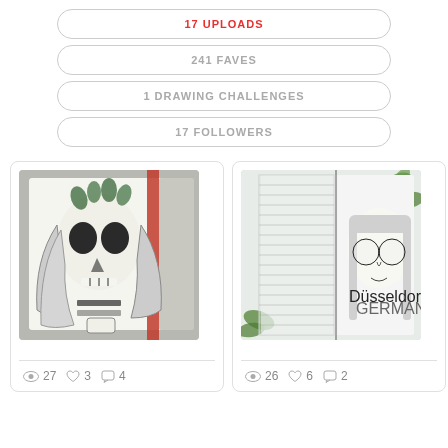17 UPLOADS
241 FAVES
1 DRAWING CHALLENGES
17 FOLLOWERS
[Figure (photo): Sketch book drawing of a skull-faced girl with flowing hair and flower crown, holding a cup, with a red elastic band visible. Stats: 27 views, 3 likes, 4 comments.]
[Figure (photo): Sketch book drawing of a girl with large round glasses and long hair, text 'Düsseldorf GERMANY' written below the face, surrounded by leaves. Stats: 26 views, 6 likes, 2 comments.]